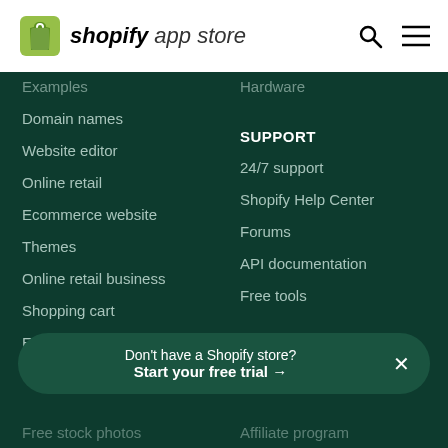[Figure (logo): Shopify App Store logo with green shopping bag icon]
Examples
Hardware
Domain names
Website editor
SUPPORT
Online retail
24/7 support
Ecommerce website
Shopify Help Center
Themes
Forums
Online retail business
API documentation
Shopping cart
Free tools
Ecommerce hosting
SHOPIFY
Mobile commerce
Contact
Don't have a Shopify store? Start your free trial →
Free stock photos
Affiliate program